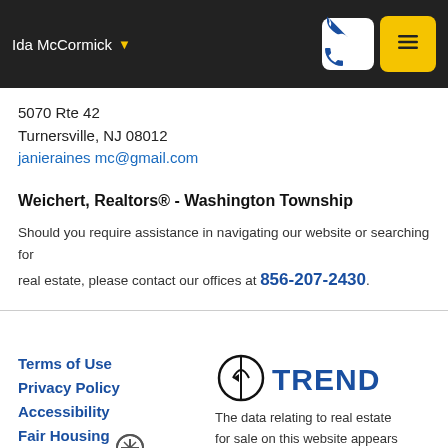Ida McCormick
5070 Rte 42
Turnersville, NJ 08012
janieraines mc@gmail.com
Weichert, Realtors® - Washington Township
Should you require assistance in navigating our website or searching for real estate, please contact our offices at 856-207-2430.
Terms of Use
Privacy Policy
Accessibility
Fair Housing Statement
[Figure (logo): TREND real estate logo]
The data relating to real estate for sale on this website appears in part through the TREND